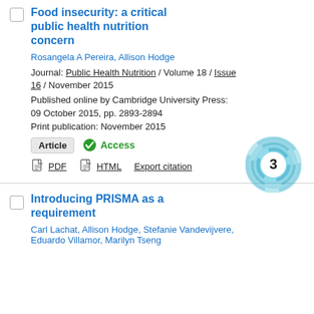Food insecurity: a critical public health nutrition concern
Rosangela A Pereira, Allison Hodge
Journal: Public Health Nutrition / Volume 18 / Issue 16 / November 2015
Published online by Cambridge University Press: 09 October 2015, pp. 2893-2894
Print publication: November 2015
Article   ✓ Access
PDF   HTML   Export citation
[Figure (other): Altmetric donut badge showing citation score of 3]
Introducing PRISMA as a requirement
Carl Lachat, Allison Hodge, Stefanie Vandevijvere, Eduardo Villamor, Marilyn Tseng